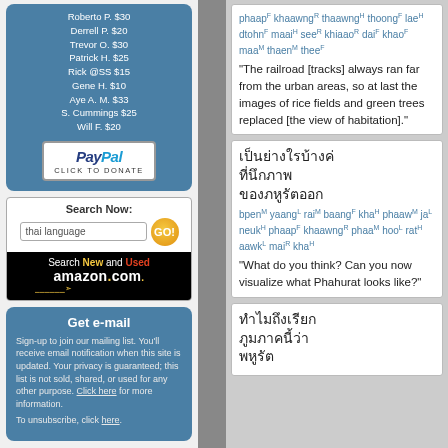Roberto P. $30
Derrell P. $20
Trevor O. $30
Patrick H. $25
Rick @SS $15
Gene H. $10
Aye A. M. $33
S. Cummings $25
Will F. $20
[Figure (logo): PayPal donate button]
[Figure (screenshot): Amazon search box with Search Now label, text input 'thai language', GO button, Search New and Used amazon.com banner]
Get e-mail
Sign-up to join our mailing list. You'll receive email notification when this site is updated. Your privacy is guaranteed; this list is not sold, shared, or used for any other purpose. Click here for more information.
To unsubscribe, click here.
phaapF khaawngR thaawngH thoongF laeH dtohnF maaiH seeR khiaaoR daiF khaoF maaM thaaenM theeF
"The railroad [tracks] always ran far from the urban areas, so at last the images of rice fields and green trees replaced [the view of habitation]."
Thai text block 2
bpenM yaangL raiM baangF khaH phaawM jaL neukH phaapF khaawngR phaaM hooL ratH aawkL maiR khaH
"What do you think? Can you now visualize what Phahurat looks like?"
Thai text block 3